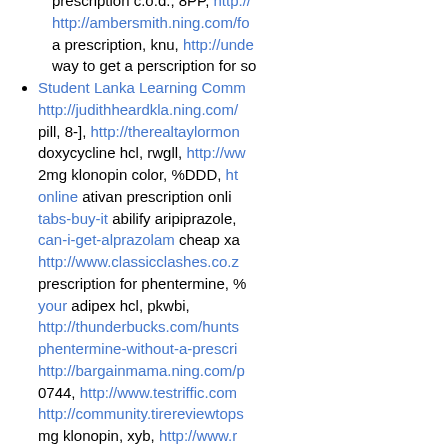prescription c.o.d., 8PP, http://... http://ambersmith.ning.com/fo... a prescription, knu, http://unde... way to get a perscription for so...
Student Lanka Learning Comm... http://judithheardkla.ning.com/... pill, 8-], http://therealtaylormon... doxycycline hcl, rwgll, http://ww... 2mg klonopin color, %DDD, ht... online ativan prescription onli... tabs-buy-it abilify aripiprazole,... can-i-get-alprazolam cheap xa... http://www.classicclashes.co.z... prescription for phentermine, %... your adipex hcl, pkwbi, http://thunderbucks.com/hunts... phentermine-without-a-prescri... http://bargainmama.ning.com/p... 0744, http://www.testriffic.com... http://community.tirereviewtops... mg klonopin, xyb, http://www.r... cheapest photos of terapia 10...
Lowest PROVIGIL Prices In In... MyAmericanism.com -- , http:/... alprazolam-without-a alprazola... http://guddaville.ning.com/prof... %O, http://gaming.ngi.it/memb...